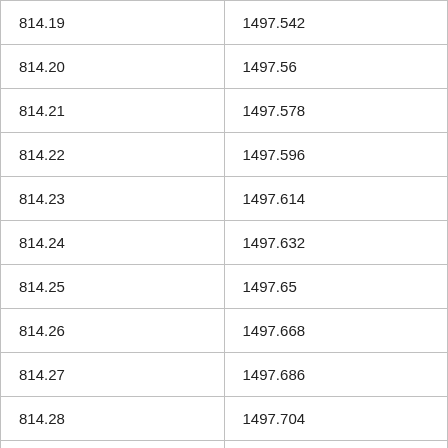| 814.19 | 1497.542 |
| 814.20 | 1497.56 |
| 814.21 | 1497.578 |
| 814.22 | 1497.596 |
| 814.23 | 1497.614 |
| 814.24 | 1497.632 |
| 814.25 | 1497.65 |
| 814.26 | 1497.668 |
| 814.27 | 1497.686 |
| 814.28 | 1497.704 |
| 814.29 | 1497.722 |
| 814.30 | 1497.74 |
| 814.31 | 1497.758 |
| 814.32 | 1497.776 |
| 814.33 | 1497.794 |